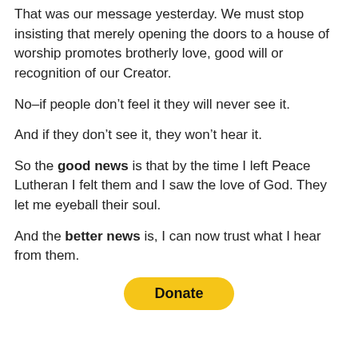That was our message yesterday. We must stop insisting that merely opening the doors to a house of worship promotes brotherly love, good will or recognition of our Creator.
No–if people don’t feel it they will never see it.
And if they don’t see it, they won’t hear it.
So the good news is that by the time I left Peace Lutheran I felt them and I saw the love of God. They let me eyeball their soul.
And the better news is, I can now trust what I hear from them.
[Figure (other): Yellow PayPal Donate button]